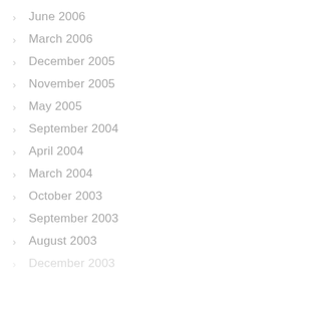June 2006
March 2006
December 2005
November 2005
May 2005
September 2004
April 2004
March 2004
October 2003
September 2003
August 2003
December 2003